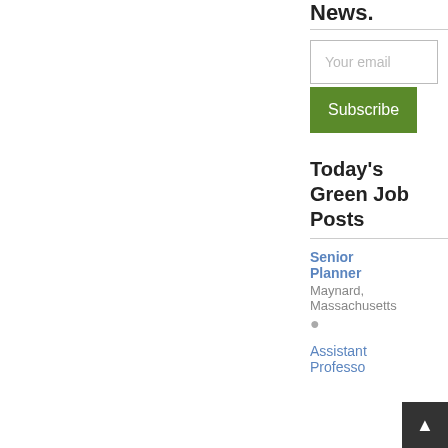News.
[Figure (other): Email subscription form with text input labeled 'Your email' and a green 'Subscribe' button]
Today's Green Job Posts
Senior Planner
Maynard, Massachusetts
Assistant Professor